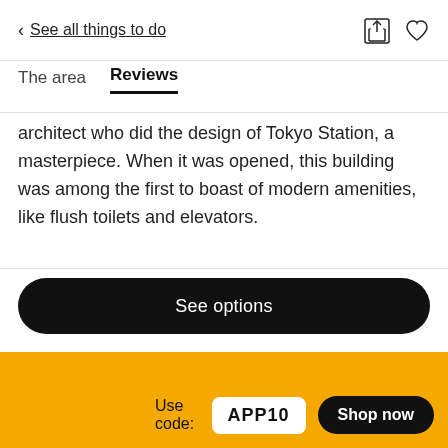< See all things to do
The area    Reviews
architect who did the design of Tokyo Station, a masterpiece. When it was opened, this building was among the first to boast of modern amenities, like flush toilets and elevators.
See options
Get 10% off Things to Do when you book in the app. Terms apply  Use code: APP10  Shop now